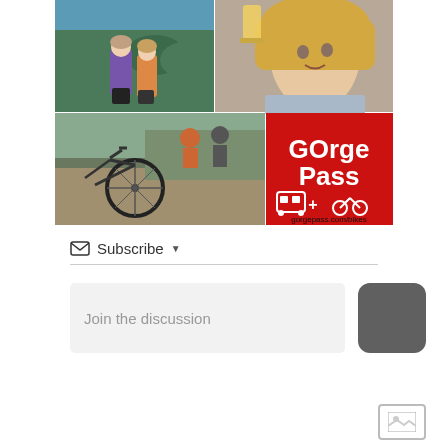[Figure (photo): Composite advertisement image for GOrge Pass showing: top-left two women looking at gorge scenery, top-right woman smiling holding a drink, bottom-left bikes parked at an outdoor cafe/patio, bottom-right red panel with white text 'GOrge Pass' and bus + bike icons and text 'gorgepass.com/bikes']
Subscribe ▾
Join the discussion